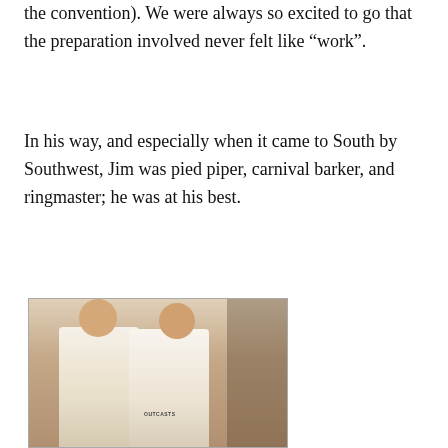the convention). We were always so excited to go that the preparation involved never felt like “work”.
In his way, and especially when it came to South by Southwest, Jim was pied piper, carnival barker, and ringmaster; he was at his best.
[Figure (photo): A vintage photograph of two young men standing together indoors. The man on the left has his arm raised and is wearing a white t-shirt with an Elvis graphic. The man on the right is wearing a white sweatshirt with 'Outcasts' text and a lanyard/badge. Background shows a doorframe and hung clothing.]